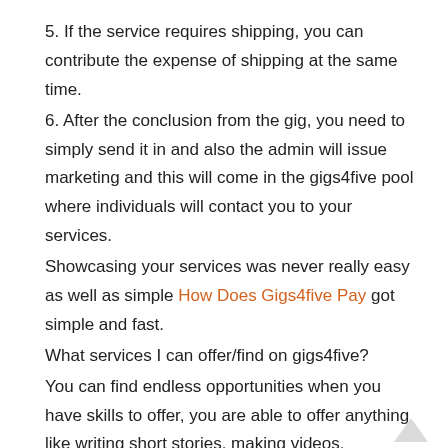5. If the service requires shipping, you can contribute the expense of shipping at the same time.
6. After the conclusion from the gig, you need to simply send it in and also the admin will issue marketing and this will come in the gigs4five pool where individuals will contact you to your services.
Showcasing your services was never really easy as well as simple How Does Gigs4five Pay got simple and fast.
What services I can offer/find on gigs4five?
You can find endless opportunities when you have skills to offer, you are able to offer anything like writing short stories, making videos, designing logos, or websites or what you can offer for the gigs4five website. In case you have guts to behave this can be done on gigs4five and create money online. Simply I'll say if you wish to be described as a freelancer compared to gigs4five web site is in your case.